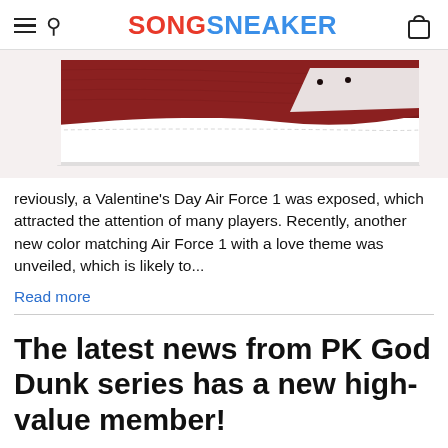SONGSNEAKER
[Figure (photo): Close-up of a Nike Air Force 1 sneaker with dark red/maroon leather upper and white midsole]
reviously, a Valentine's Day Air Force 1 was exposed, which attracted the attention of many players. Recently, another new color matching Air Force 1 with a love theme was unveiled, which is likely to...
Read more
The latest news from PK God Dunk series has a new high-value member!